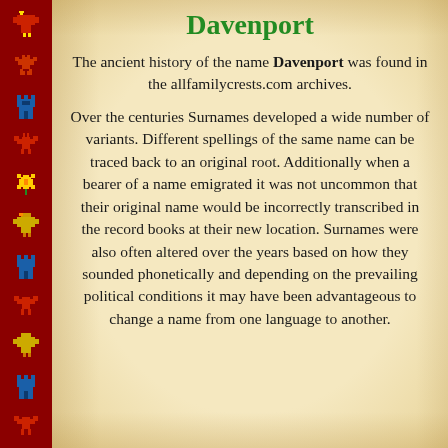[Figure (illustration): Decorative red left border with pixel-art heraldic icons including shields, towers, lobsters/crabs, birds, and other medieval/heraldic motifs stacked vertically]
Davenport
The ancient history of the name Davenport was found in the allfamilycrests.com archives.
Over the centuries Surnames developed a wide number of variants. Different spellings of the same name can be traced back to an original root. Additionally when a bearer of a name emigrated it was not uncommon that their original name would be incorrectly transcribed in the record books at their new location. Surnames were also often altered over the years based on how they sounded phonetically and depending on the prevailing political conditions it may have been advantageous to change a name from one language to another.